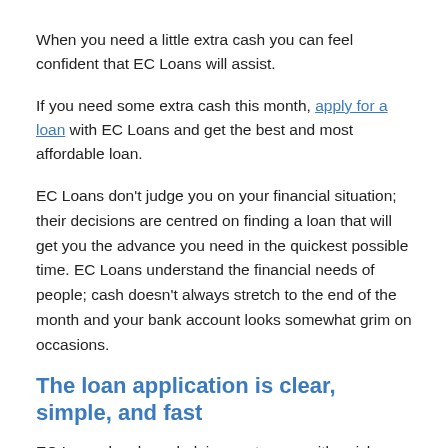When you need a little extra cash you can feel confident that EC Loans will assist.
If you need some extra cash this month, apply for a loan with EC Loans and get the best and most affordable loan.
EC Loans don't judge you on your financial situation; their decisions are centred on finding a loan that will get you the advance you need in the quickest possible time. EC Loans understand the financial needs of people; cash doesn't always stretch to the end of the month and your bank account looks somewhat grim on occasions.
The loan application is clear, simple, and fast
EC Loans has been helping customers with quick loans for a considerable length of time, utilizing their experience to make